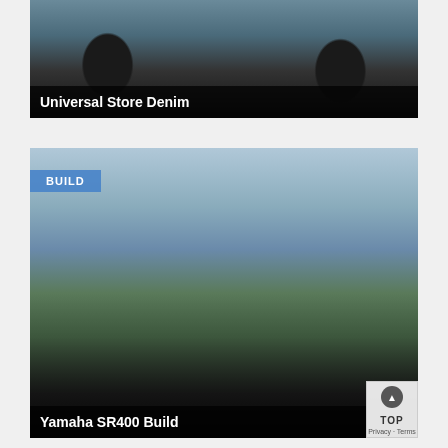[Figure (photo): Motorcycle (café racer style) photo card with dark background, showing front and rear wheels with brake discs. Partial view of motorcycle in indoor/exhibition setting.]
Universal Store Denim
[Figure (photo): Rider on a custom Yamaha SR400 flat tracker / scrambler motorcycle in an open field at dusk. Rider wearing full-face helmet with goggles and black outfit. Motorcycle has yellow seat and knobby tires.]
Yamaha SR400 Build